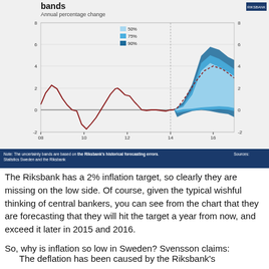[Figure (area-chart): Line chart with uncertainty bands (50%, 75%, 90%) showing annual percentage change from 2008 to ~2017. Historical red line shows actual data from 2008 to ~2015, then forecast bands fan out showing projected inflation rising to around 3% central forecast with uncertainty bands reaching up to 6%.]
Note: The uncertainty bands are based on the Riksbank's historical forecasting errors. Sources: Statistics Sweden and the Riksbank
The Riksbank has a 2% inflation target, so clearly they are missing on the low side. Of course, given the typical wishful thinking of central bankers, you can see from the chart that they are forecasting that they will hit the target a year from now, and exceed it later in 2015 and 2016.
So, why is inflation so low in Sweden? Svensson claims:
The deflation has been caused by the Riksbank's